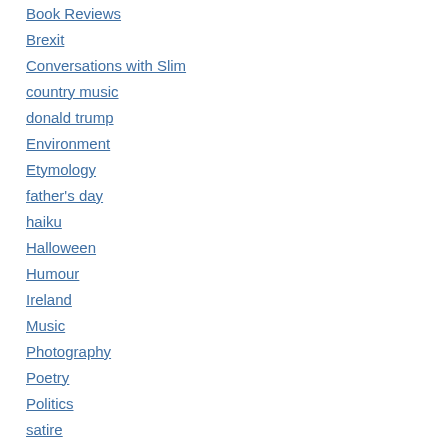Book Reviews
Brexit
Conversations with Slim
country music
donald trump
Environment
Etymology
father's day
haiku
Halloween
Humour
Ireland
Music
Photography
Poetry
Politics
satire
Science Fiction
Slimverse